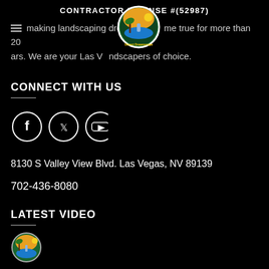CONTRACTOR LICENSE #(52987)
making landscaping dreams come true for more than 20 years. We are your Las Vegas landscapers of choice.
[Figure (logo): Circular logo with tropical scene — palm trees, waterfall, sunset — and text around the border]
CONNECT WITH US
[Figure (illustration): Three circular social media icons: Facebook (f), Twitter (bird), YouTube (play button)]
8130 S Valley View Blvd. Las Vegas, NV 89139
702-436-8080
LATEST VIDEO
[Figure (logo): Partial circular logo at bottom of page, same tropical logo]